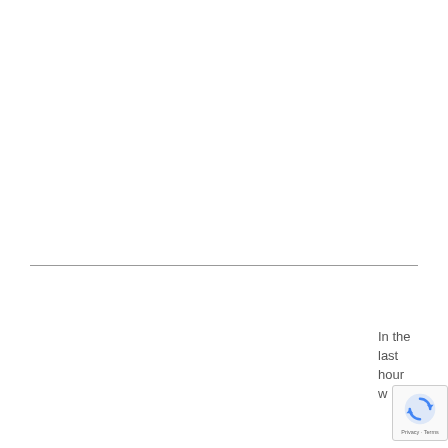In the last hour w
[Figure (other): reCAPTCHA widget overlay with circular arrow icon and Privacy - Terms footer text]